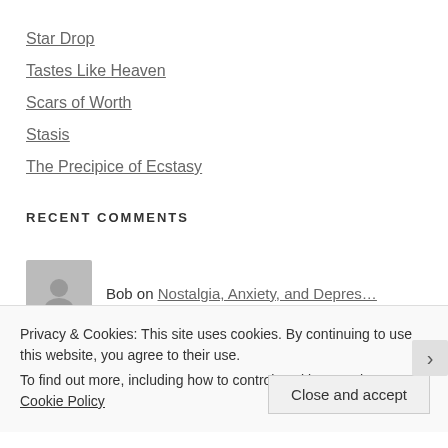Star Drop
Tastes Like Heaven
Scars of Worth
Stasis
The Precipice of Ecstasy
RECENT COMMENTS
Bob on Nostalgia, Anxiety, and Depres…
Privacy & Cookies: This site uses cookies. By continuing to use this website, you agree to their use.
To find out more, including how to control cookies, see here: Cookie Policy